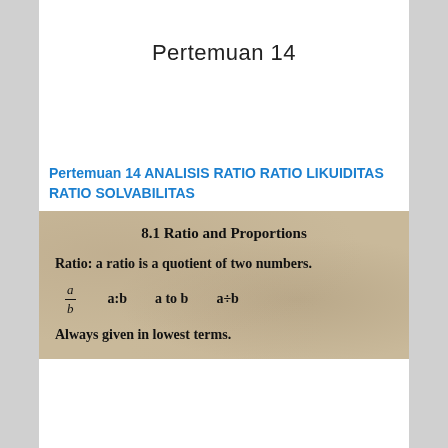Pertemuan 14
Pertemuan 14 ANALISIS RATIO RATIO LIKUIDITAS RATIO SOLVABILITAS
[Figure (photo): Textbook page showing section 8.1 Ratio and Proportions. Content: 'Ratio: a ratio is a quotient of two numbers.' Shows forms: a/b, a:b, a to b, a÷b. Footer text: 'Always given in lowest terms.']